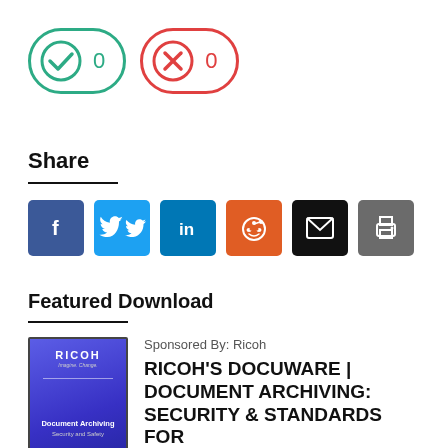[Figure (infographic): Two vote buttons: a green checkmark button showing 0 upvotes and a red X button showing 0 downvotes]
Share
[Figure (infographic): Six social sharing icon buttons: Facebook (f), Twitter (bird), LinkedIn (in), Reddit (alien), Email (envelope), Print (printer)]
Featured Download
[Figure (illustration): Book cover thumbnail showing Ricoh branding with Document Archiving text on a blue/purple gradient background]
Sponsored By: Ricoh
RICOH'S DOCUWARE | DOCUMENT ARCHIVING: SECURITY & STANDARDS FOR